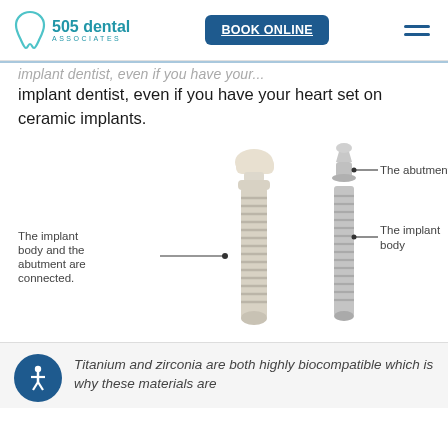505 dental Associates | BOOK ONLINE
implant dentist, even if you have your heart set on ceramic implants.
[Figure (illustration): Diagram showing two dental implants side by side. Left implant (ceramic/white) is one piece with the label 'The implant body and the abutment are connected.' Right implant (titanium/silver) is two separate pieces with labels 'The abutment' (top) and 'The implant body' (bottom).]
Titanium and zirconia are both highly biocompatible which is why these materials are